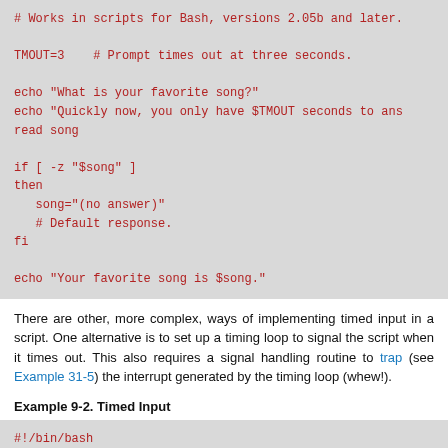[Figure (screenshot): Code block showing bash script for timed song input using TMOUT variable]
There are other, more complex, ways of implementing timed input in a script. One alternative is to set up a timing loop to signal the script when it times out. This also requires a signal handling routine to trap (see Example 31-5) the interrupt generated by the timing loop (whew!).
Example 9-2. Timed Input
[Figure (screenshot): Code block showing beginning of timed-input.sh bash script]